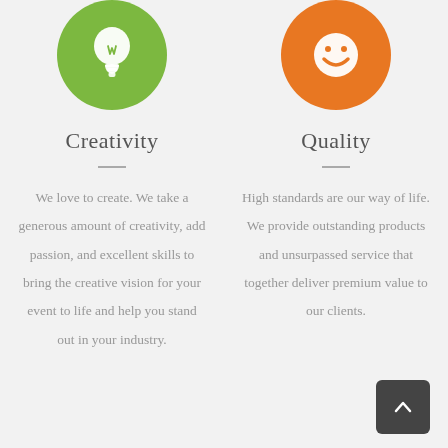[Figure (illustration): Green circle with white lightbulb icon]
[Figure (illustration): Orange circle with white smiley face icon]
Creativity
Quality
We love to create. We take a generous amount of creativity, add passion, and excellent skills to bring the creative vision for your event to life and help you stand out in your industry.
High standards are our way of life. We provide outstanding products and unsurpassed service that together deliver premium value to our clients.
[Figure (illustration): Dark gray back-to-top button with upward chevron arrow]